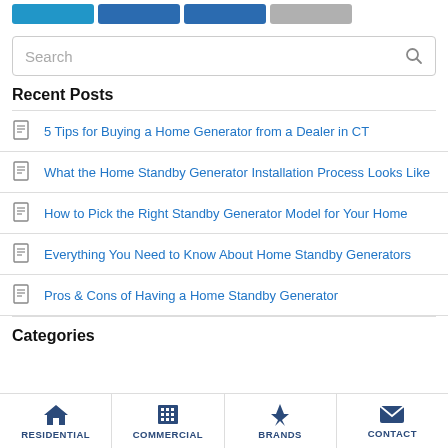Navigation tabs: [blue] [blue] [blue] [gray]
Search
Recent Posts
5 Tips for Buying a Home Generator from a Dealer in CT
What the Home Standby Generator Installation Process Looks Like
How to Pick the Right Standby Generator Model for Your Home
Everything You Need to Know About Home Standby Generators
Pros & Cons of Having a Home Standby Generator
Categories
RESIDENTIAL | COMMERCIAL | BRANDS | CONTACT